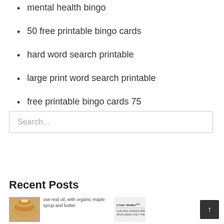mental health bingo
50 free printable bingo cards
hard word search printable
large print word search printable
free printable bingo cards 75
Search...
Recent Posts
[Figure (photo): Pancakes with maple syrup and butter, with caption text 'use real oil, with organic maple syrup and butter']
[Figure (logo): Crazy Shakes logo with text 'OUR MILK SHAKES ARE HAND SPUN USING ONLY THE FINEST']